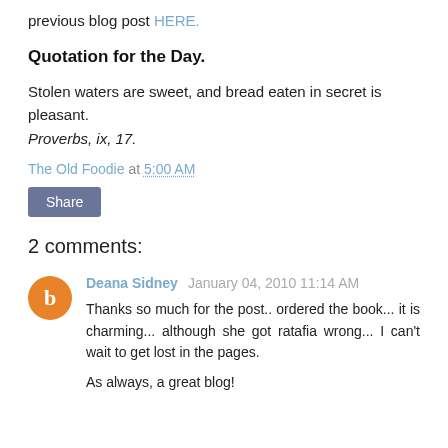previous blog post HERE.
Quotation for the Day.
Stolen waters are sweet, and bread eaten in secret is pleasant.
Proverbs, ix, 17.
The Old Foodie at 5:00 AM
Share
2 comments:
Deana Sidney  January 04, 2010 11:14 AM
Thanks so much for the post.. ordered the book... it is charming... although she got ratafia wrong... I can't wait to get lost in the pages.

As always, a great blog!